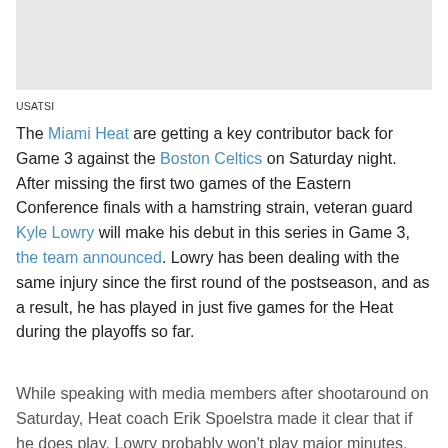[Figure (photo): Gray image placeholder area at the top of the page]
USATSI
The Miami Heat are getting a key contributor back for Game 3 against the Boston Celtics on Saturday night. After missing the first two games of the Eastern Conference finals with a hamstring strain, veteran guard Kyle Lowry will make his debut in this series in Game 3, the team announced. Lowry has been dealing with the same injury since the first round of the postseason, and as a result, he has played in just five games for the Heat during the playoffs so far.
While speaking with media members after shootaround on Saturday, Heat coach Erik Spoelstra made it clear that if he does play, Lowry probably won't play major minutes. Still, so